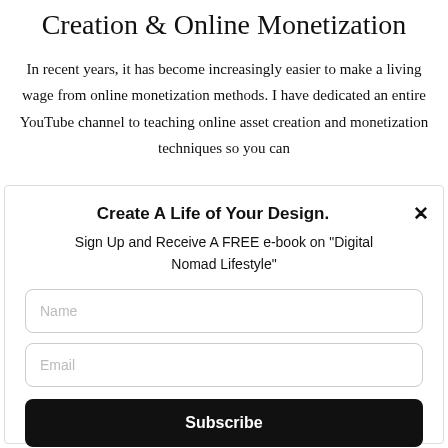Creation & Online Monetization
In recent years, it has become increasingly easier to make a living wage from online monetization methods. I have dedicated an entire YouTube channel to teaching online asset creation and monetization techniques so you can
Create A Life of Your Design.
Sign Up and Receive A FREE e-book on "Digital Nomad Lifestyle"
Name
Email
Subscribe